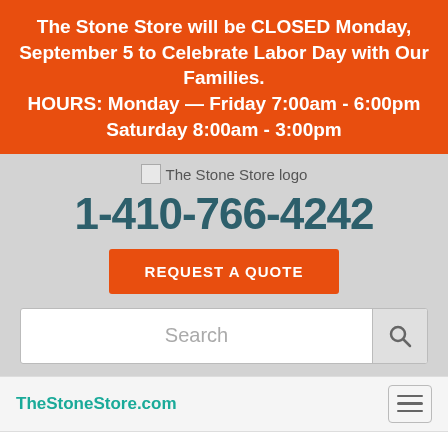The Stone Store will be CLOSED Monday, September 5 to Celebrate Labor Day with Our Families. HOURS:  Monday — Friday 7:00am - 6:00pm Saturday 8:00am - 3:00pm
[Figure (logo): The Stone Store logo placeholder image]
1-410-766-4242
REQUEST A QUOTE
Search
TheStoneStore.com
The Stone Store is just a stone's throw from BWI Airport